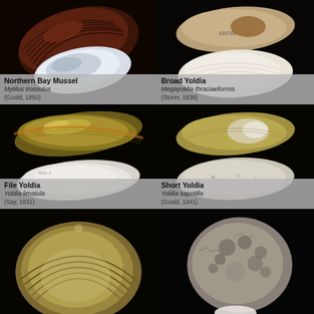[Figure (photo): Northern Bay Mussel shell - dark brown ridged exterior and pearlescent interior on black background. Common name: Northern Bay Mussel, Scientific name: Mytilus trossulus, Author: Gould, 1850]
[Figure (photo): Broad Yoldia shell - beige/brown exterior and white interior on black background with label 155701. Common name: Broad Yoldia, Scientific name: Megayoldia thraciaeformis, Author: Storer, 1838]
[Figure (photo): File Yoldia shell - glossy yellow-green/olive colored shell and white interior on black background. Common name: File Yoldia, Scientific name: Yoldia limatula, Author: Say, 1831]
[Figure (photo): Short Yoldia shell - yellowish exterior with pearlescent patches on black background. Common name: Short Yoldia, Scientific name: Yoldia sapotilla, Author: Gould, 1841]
[Figure (photo): Partially visible shell - tan/olive colored with concentric ridges on black background, bottom row left]
[Figure (photo): Partially visible rough encrusted shell or barnacle-like specimen on black background, bottom row right]